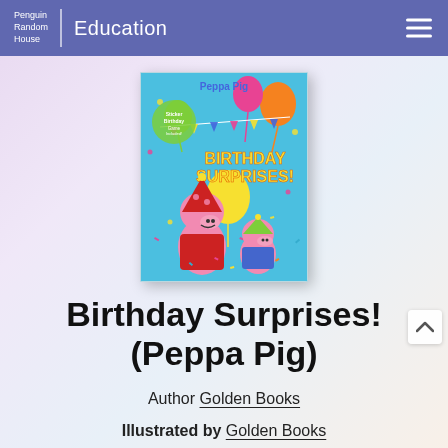Penguin Random House | Education
[Figure (illustration): Book cover of 'Birthday Surprises! (Peppa Pig)' showing Peppa Pig and George Pig wearing party hats with balloons and confetti on a blue background. Published by Golden Books.]
Birthday Surprises! (Peppa Pig)
Author Golden Books
Illustrated by Golden Books